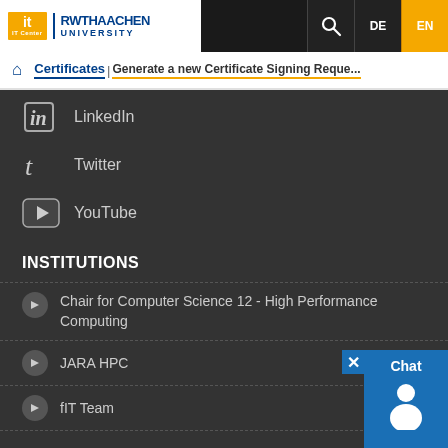IT Center RWTH Aachen University — Certificates — Generate a new Certificate Signing Reque...
LinkedIn
Twitter
YouTube
INSTITUTIONS
Chair for Computer Science 12 - High Performance Computing
JARA HPC
fIT Team